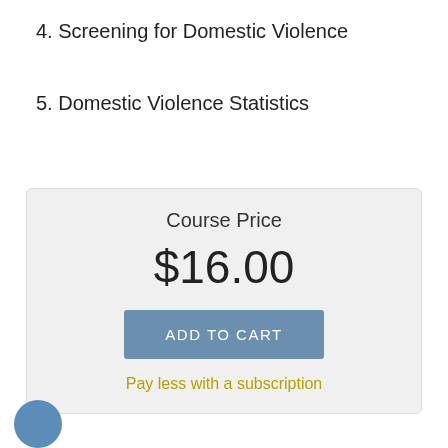3. Reporting and resources
4. Screening for Domestic Violence
5. Domestic Violence Statistics
Course Price
$16.00
ADD TO CART
Pay less with a subscription